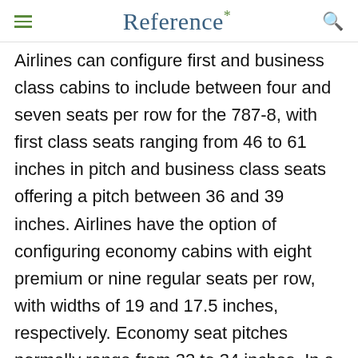Reference*
Airlines can configure first and business class cabins to include between four and seven seats per row for the 787-8, with first class seats ranging from 46 to 61 inches in pitch and business class seats offering a pitch between 36 and 39 inches. Airlines have the option of configuring economy cabins with eight premium or nine regular seats per row, with widths of 19 and 17.5 inches, respectively. Economy seat pitches normally range from 32 to 34 inches. In a typical two-class domestic configuration, the 787-8 carries 240 passengers, while an all-economy jet has seating for 296. In its most densely packed configuration, the 787-8 can carry as many as 375